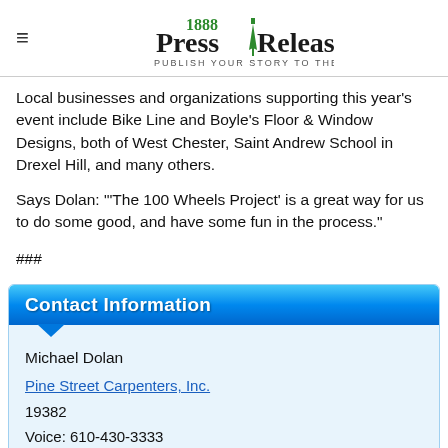1888 PressRelease - PUBLISH YOUR STORY TO THE WORLD
Local businesses and organizations supporting this year's event include Bike Line and Boyle's Floor & Window Designs, both of West Chester, Saint Andrew School in Drexel Hill, and many others.
Says Dolan: "'The 100 Wheels Project' is a great way for us to do some good, and have some fun in the process."
###
Contact Information
Michael Dolan
Pine Street Carpenters, Inc.
19382
Voice: 610-430-3333
Visit our Site